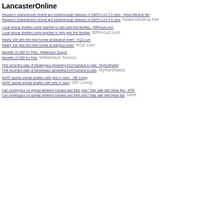LancasterOnline
Research characterizes clinical and epidemiologic features of SARS-CoV-2 in pets - News-Medical.Net
Research characterizes clinical and epidemiologic features of SARS-CoV-2 in pets  News-Medical.Net
Local rescue shelters come together to help pets find families - BRProud.com
Local rescue shelters come together to help pets find families  BRProud.com
Nearly 100 pets find new homes at adoption event - KQ2.com
Nearly 100 pets find new homes at adoption event  KQ2.com
Benefits of CBD for Pets - Williamson Source
Benefits of CBD for Pets  Williamson Source
First recorded case of Monkeypox spreading from humans to pets - MyNorthwest
First recorded case of Monkeypox spreading from humans to pets  MyNorthwest
AARF assists animal shelters with pets in need - 280 Living
AARF assists animal shelters with pets in need  280 Living
Can monkeypox be spread between humans and their pets? Stay safe with these tips - NPR
Can monkeypox be spread between humans and their pets? Stay safe with these tips  NPR